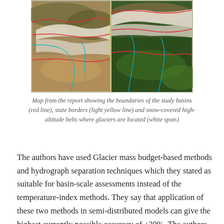[Figure (photo): Two satellite map images side by side showing mountain ranges with red boundary lines (study basins), light yellow state borders, cyan river lines, and white spots indicating snow-covered high-altitude glacier belts.]
Map from the report showing the boundaries of the study basins (red line), state borders (light yellow line) and snow-covered high-altitude belts where glaciers are located (white spots)
The authors have used Glacier mass budget-based methods and hydrograph separation techniques which they stated as suitable for basin-scale assessments instead of the temperature-index methods. They say that application of these two methods in semi-distributed models can give the highest currently possible accuracy of ±30%. The authors opine that many of the studies done previously had confused between the 'snowmelt' and 'glacier-melt' because these studies have not dealt with terminologies and methodologies in detail. The